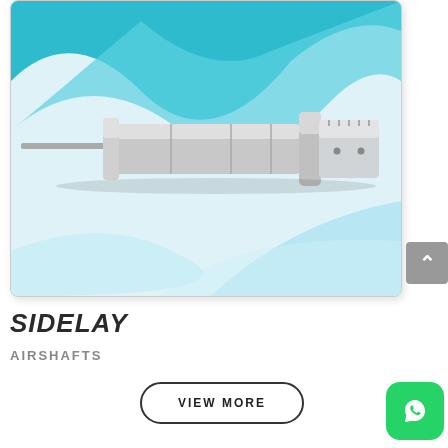[Figure (photo): A metallic airshaft / air expanding shaft product photographed against a light blue decorative wave background. The shaft is cylindrical, stainless steel, with a thinner rod protruding from the left end and a connector assembly on the right end.]
SIDELAY
AIRSHAFTS
VIEW MORE